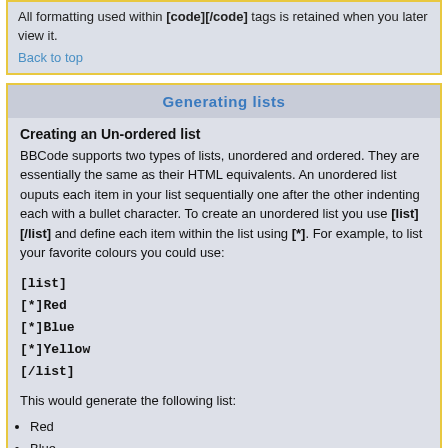All formatting used within [code][/code] tags is retained when you later view it.
Back to top
Generating lists
Creating an Un-ordered list
BBCode supports two types of lists, unordered and ordered. They are essentially the same as their HTML equivalents. An unordered list ouputs each item in your list sequentially one after the other indenting each with a bullet character. To create an unordered list you use [list][/list] and define each item within the list using [*]. For example, to list your favorite colours you could use:
[list]
[*]Red
[*]Blue
[*]Yellow
[/list]
This would generate the following list:
Red
Blue